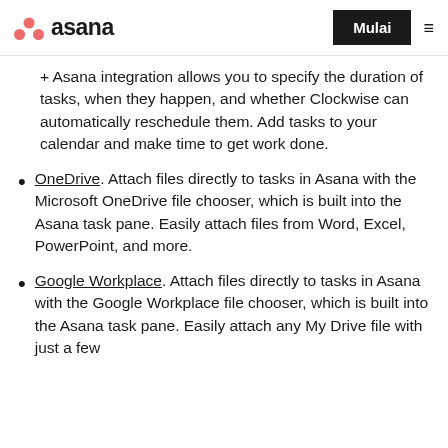asana | Mulai
+ Asana integration allows you to specify the duration of tasks, when they happen, and whether Clockwise can automatically reschedule them. Add tasks to your calendar and make time to get work done.
OneDrive. Attach files directly to tasks in Asana with the Microsoft OneDrive file chooser, which is built into the Asana task pane. Easily attach files from Word, Excel, PowerPoint, and more.
Google Workplace. Attach files directly to tasks in Asana with the Google Workplace file chooser, which is built into the Asana task pane. Easily attach any My Drive file with just a few...